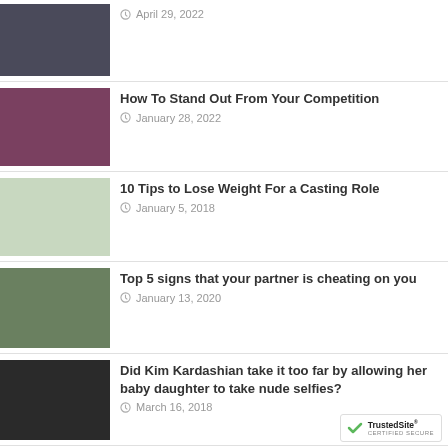April 29, 2022
How To Stand Out From Your Competition — January 28, 2022
10 Tips to Lose Weight For a Casting Role — January 5, 2018
Top 5 signs that your partner is cheating on you — January 13, 2020
Did Kim Kardashian take it too far by allowing her baby daughter to take nude selfies? — March 16, 2018
Top 100 Reality TV Shows 2017 — January 23, 2020